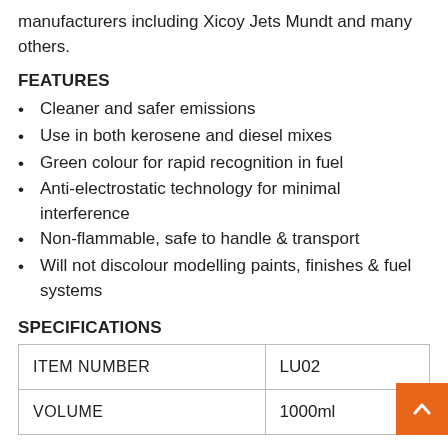manufacturers including Xicoy Jets Mundt and many others.
FEATURES
Cleaner and safer emissions
Use in both kerosene and diesel mixes
Green colour for rapid recognition in fuel
Anti-electrostatic technology for minimal interference
Non-flammable, safe to handle & transport
Will not discolour modelling paints, finishes & fuel systems
SPECIFICATIONS
| ITEM NUMBER | LU02 |
| --- | --- |
| VOLUME | 1000ml |